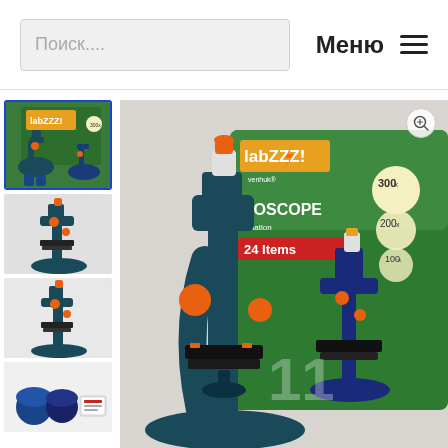Поиск.... Меню
[Figure (photo): Thumbnail image showing Levenhuk LabZZ microscope set with box, selected/highlighted with blue border]
[Figure (photo): Thumbnail: dark teal and orange microscope side view 1]
[Figure (photo): Thumbnail: dark teal and orange microscope side view 2]
[Figure (photo): Thumbnail: microscope accessories - blue containers and slide]
[Figure (photo): Main large product image: Levenhuk LabZZ microscope set, showing the teal/orange microscope in foreground and product box with 300x 200x 100x magnification labels, ROSCOPE text, 24 items, two microscopes shown]